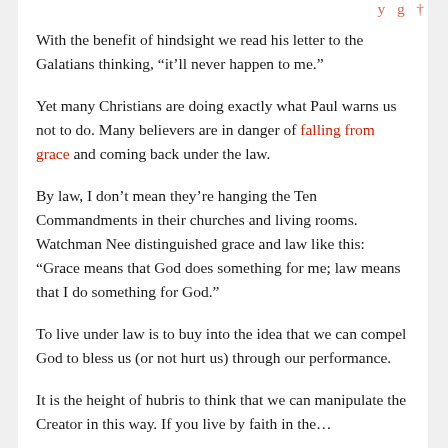With the benefit of hindsight we read his letter to the Galatians thinking, “it’ll never happen to me.”
Yet many Christians are doing exactly what Paul warns us not to do. Many believers are in danger of falling from grace and coming back under the law.
By law, I don’t mean they’re hanging the Ten Commandments in their churches and living rooms. Watchman Nee distinguished grace and law like this: “Grace means that God does something for me; law means that I do something for God.”
To live under law is to buy into the idea that we can compel God to bless us (or not hurt us) through our performance.
It is the height of hubris to think that we can manipulate the Creator in this way. If you live by faith in the…